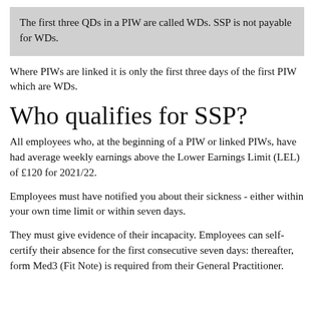The first three QDs in a PIW are called WDs. SSP is not payable for WDs.
Where PIWs are linked it is only the first three days of the first PIW which are WDs.
Who qualifies for SSP?
All employees who, at the beginning of a PIW or linked PIWs, have had average weekly earnings above the Lower Earnings Limit (LEL) of £120 for 2021/22.
Employees must have notified you about their sickness - either within your own time limit or within seven days.
They must give evidence of their incapacity. Employees can self-certify their absence for the first consecutive seven days: thereafter, form Med3 (Fit Note) is required from their General Practitioner.